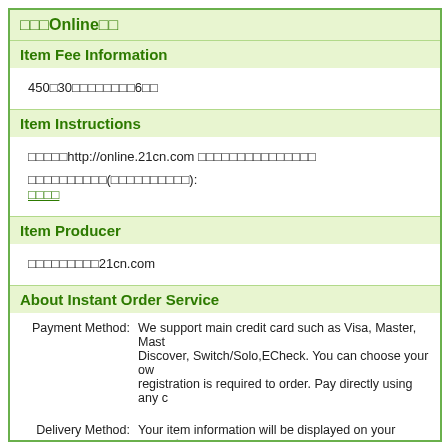□□□Online□□
Item Fee Information
450□30□□□□□□□□6□□
Item Instructions
□□□□□http://online.21cn.com □□□□□□□□□□□□□□□
□□□□□□□□□□(□□□□□□□□□□):
□□□□
Item Producer
□□□□□□□□□21cn.com
About Instant Order Service
Payment Method: We support main credit card such as Visa, Master, MasterCard, Discover, Switch/Solo,ECheck. You can choose your own. No registration is required to order. Pay directly using any c
Delivery Method: Your item information will be displayed on your compute